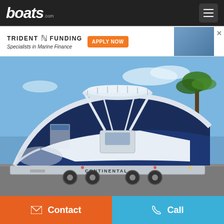boats.com
[Figure (infographic): Trident Funding advertisement banner with logo, 'Specialists in Marine Finance' tagline, orange 'APPLY NOW' button, and boat image on right side]
[Figure (photo): A blue and white center console boat with T-top on a Continental trailer in a parking lot with palm trees. The boat has a T-top, blue hull, white deck, and is on a dual-axle trailer.]
Contact
Call